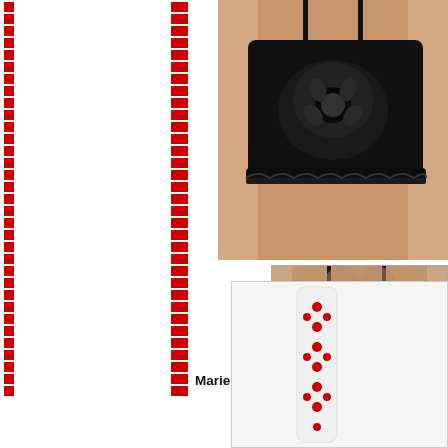[Figure (photo): Front view of Marie Jo Jane Bra in black lace with straps, shown on a model from the front]
[Figure (photo): Back view of Marie Jo Jane Bra in black on a model showing the back closure and straps]
Marie Jo Jane Bra Underwire B
[Figure (other): Blue button labeled Get Price, Colo...]
[Figure (photo): Product detail image showing white/red patterned lingerie item, bottom section of page]